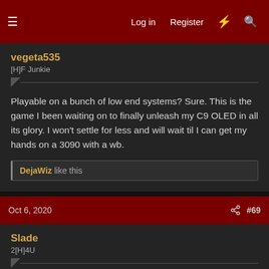Log in  Register  #  🔍
vegeta535
[H]F Junkie
Playable on a bunch of low end systems? Sure. This is the game I been waiting on to finally unleash my C9 OLED in all its glory. I won't settle for less and will wait til I can get my hands on a 3090 with a wb.
DejaWiz like this
Oct 6, 2020  #69
Slade
2[H]4U
My reseller has been getting cards every day, 3080's are coming in around 20-30 of them per day, it is not enough as the pre-order count they had far outstrips it that they will be